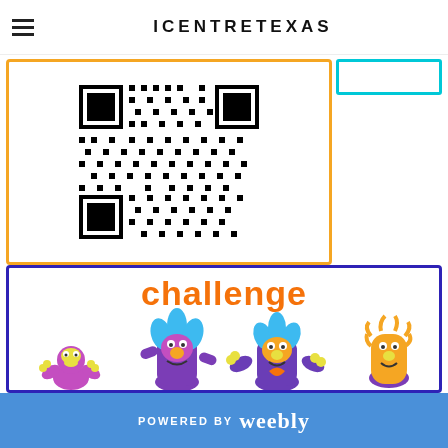ICENTRETEXAS
[Figure (other): QR code inside an orange-bordered box with a cyan-bordered rectangle to the right]
[Figure (illustration): Colorful monster puppets with the word 'challenge' in orange text above them, inside a blue/purple bordered box]
POWERED BY weebly